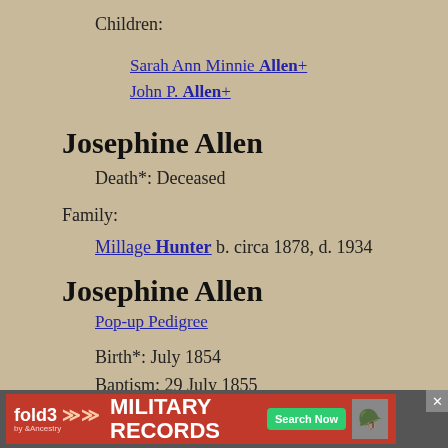Children:
Sarah Ann Minnie Allen+
John P. Allen+
Josephine Allen
Death*: Deceased
Family:
Millage Hunter b. circa 1878, d. 1934
Josephine Allen
Pop-up Pedigree
Birth*: July 1854
Baptism: 29 July 1855
Parents:
Father: Martin Allen b. 1817
[Figure (infographic): Fold3 Military Records advertisement banner with red background, Fold3 logo, MILITARY RECORDS text, Search Now button, and soldier photo]